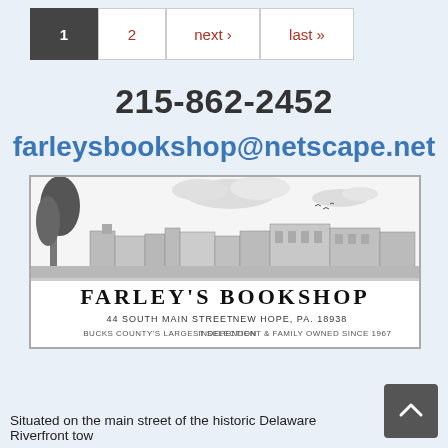1  2  next ›  last »
215-862-2452
farleysbookshop@netscape.net
[Figure (illustration): Farley's Bookshop illustration showing a panoramic pen-and-ink drawing of a riverside town. Below the drawing: FARLEY'S BOOKSHOP, 44 South Main Street, New Hope, PA. 18938, Bucks County's Largest Selection, Independent & Family Owned Since 1967]
Situated on the main street of the historic Delaware Riverfront tow